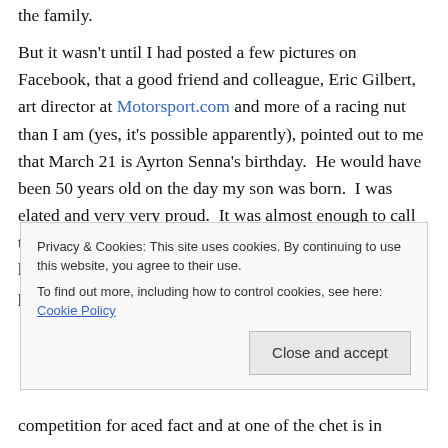the family.
But it wasn't until I had posted a few pictures on Facebook, that a good friend and colleague, Eric Gilbert, art director at Motorsport.com and more of a racing nut than I am (yes, it's possible apparently), pointed out to me that March 21 is Ayrton Senna's birthday.  He would have been 50 years old on the day my son was born.  I was elated and very very proud.  It was almost enough to call the birth certificate lady back into the room and change his middle name to Ayrton (my wife would have be so pleased, let me tell you.)
Privacy & Cookies: This site uses cookies. By continuing to use this website, you agree to their use.
To find out more, including how to control cookies, see here: Cookie Policy
Close and accept
competition for aced fact and at one of the chet is in